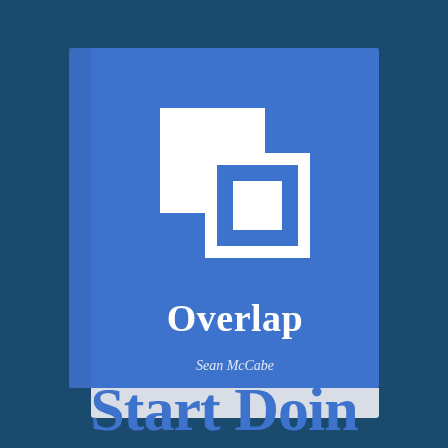[Figure (illustration): Book cover illustration showing a blue book with white overlapping squares logo, title 'Overlap' and author 'Sean McCabe']
Overlap
Sean McCabe
Start Doin...